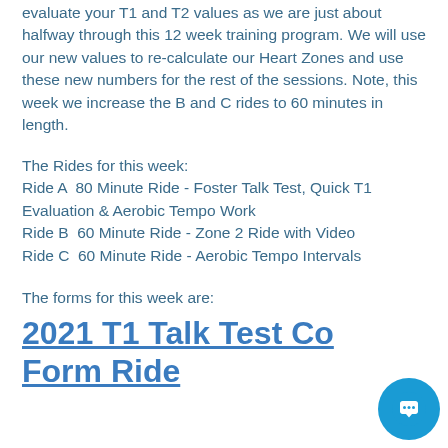evaluate your T1 and T2 values as we are just about halfway through this 12 week training program. We will use our new values to re-calculate our Heart Zones and use these new numbers for the rest of the sessions. Note, this week we increase the B and C rides to 60 minutes in length.
The Rides for this week:
Ride A  80 Minute Ride - Foster Talk Test, Quick T1 Evaluation & Aerobic Tempo Work
Ride B  60 Minute Ride - Zone 2 Ride with Video
Ride C  60 Minute Ride - Aerobic Tempo Intervals
The forms for this week are:
2021 T1 Talk Test Co... Form Ride